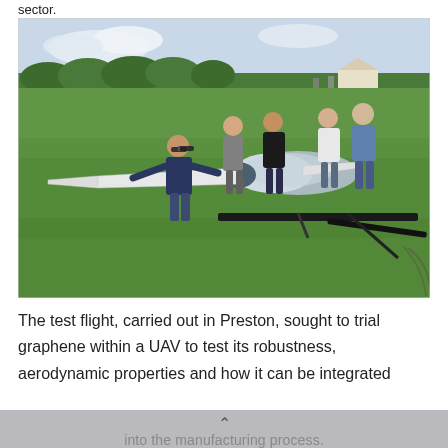sector.
[Figure (photo): Several people standing around a UAV (unmanned aerial vehicle) on a green field in Preston. The drone has long white wings and a covered fuselage on a launch rail. A man with sunglasses is handling the wing. Other people stand observing. Background shows trees and a tent/marquee.]
The test flight, carried out in Preston, sought to trial graphene within a UAV to test its robustness, aerodynamic properties and how it can be integrated into the manufacturing process.